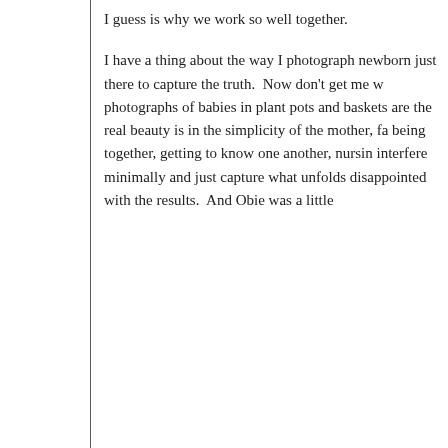I guess is why we work so well together.
I have a thing about the way I photograph newborn just there to capture the truth.  Now don't get me w photographs of babies in plant pots and baskets are the real beauty is in the simplicity of the mother, fa being together, getting to know one another, nursin interfere minimally and just capture what unfolds disappointed with the results.  And Obie was a little